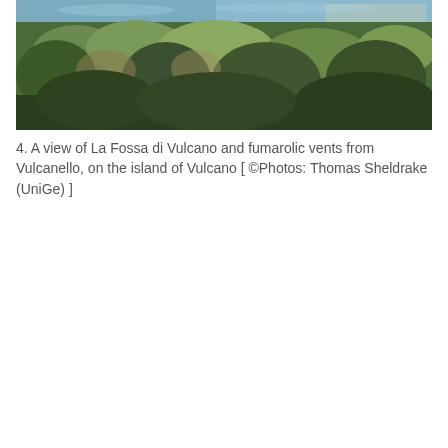[Figure (photo): A panoramic photograph showing a view of La Fossa di Vulcano and fumarolic vents from Vulcanello, on the island of Vulcano. Dense green vegetation and trees in the foreground, with a blue bay and town visible in the upper background.]
4. A view of La Fossa di Vulcano and fumarolic vents from Vulcanello, on the island of Vulcano [ ©Photos: Thomas Sheldrake (UniGe) ]